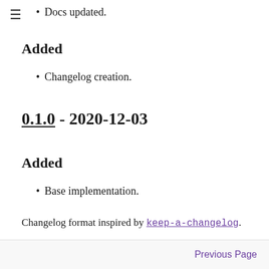Docs updated.
Added
Changelog creation.
0.1.0 - 2020-12-03
Added
Base implementation.
Changelog format inspired by keep-a-changelog.
Previous Page